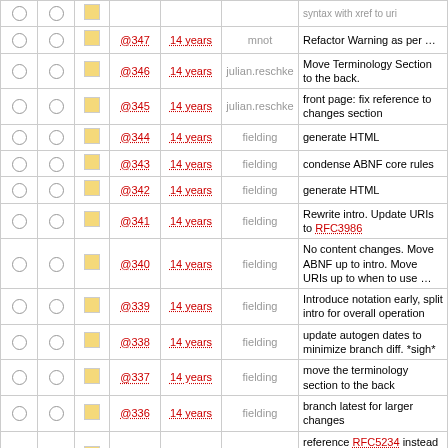|  |  |  | Rev | Age | Author | Log Message |
| --- | --- | --- | --- | --- | --- | --- |
| ○ ○ | □ | @347 | 14 years | mnot | Refactor Warning as per … |
| ○ ○ | □ | @346 | 14 years | julian.reschke | Move Terminology Section to the back. |
| ○ ○ | □ | @345 | 14 years | julian.reschke | front page: fix reference to changes section |
| ○ ○ | □ | @344 | 14 years | fielding | generate HTML |
| ○ ○ | □ | @343 | 14 years | fielding | condense ABNF core rules |
| ○ ○ | □ | @342 | 14 years | fielding | generate HTML |
| ○ ○ | □ | @341 | 14 years | fielding | Rewrite intro. Update URIs to RFC3986 |
| ○ ○ | □ | @340 | 14 years | fielding | No content changes. Move ABNF up to intro. Move URIs up to when to use … |
| ○ ○ | □ | @339 | 14 years | fielding | Introduce notation early, split intro for overall operation |
| ○ ○ | □ | @338 | 14 years | fielding | update autogen dates to minimize branch diff. *sigh* |
| ○ ○ | □ | @337 | 14 years | fielding | move the terminology section to the back |
| ○ ○ | □ | @336 | 14 years | fielding | branch latest for larger changes |
| ○ ○ | □ | @335 | 14 years | julian.reschke | reference RFC5234 instead of RFC822 for ABNF, but continue to extend … |
| ○ ○ | □ | @334 | 14 years | julian.reschke | use "/" instead of "|" for alternatives (related to #36) |